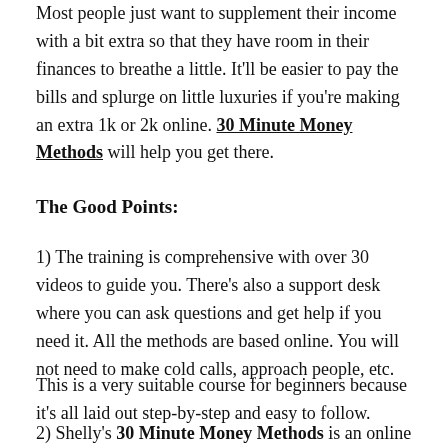Most people just want to supplement their income with a bit extra so that they have room in their finances to breathe a little. It'll be easier to pay the bills and splurge on little luxuries if you're making an extra 1k or 2k online. 30 Minute Money Methods will help you get there.
The Good Points:
1) The training is comprehensive with over 30 videos to guide you. There's also a support desk where you can ask questions and get help if you need it. All the methods are based online. You will not need to make cold calls, approach people, etc.
This is a very suitable course for beginners because it's all laid out step-by-step and easy to follow.
2) Shelly's 30 Minute Money Methods is an online